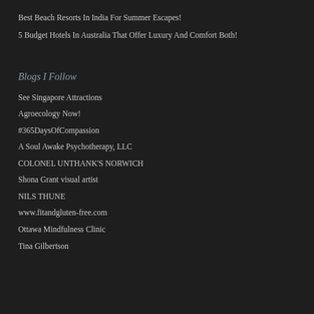Best Beach Resorts In India For Summer Escapes!
5 Budget Hotels In Australia That Offer Luxury And Comfort Both!
Blogs I Follow
See Singapore Attractions
Agroecology Now!
#365DaysOfCompassion
A Soul Awake Psychotherapy, LLC
COLONEL UNTHANK'S NORWICH
Shona Grant visual artist
NILS THUNE
www.fitandgluten-free.com
Ottawa Mindfulness Clinic
Tina Gilbertson